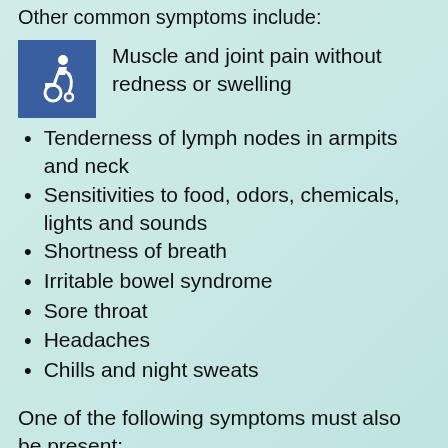Other common symptoms include:
Muscle and joint pain without redness or swelling
Tenderness of lymph nodes in armpits and neck
Sensitivities to food, odors, chemicals, lights and sounds
Shortness of breath
Irritable bowel syndrome
Sore throat
Headaches
Chills and night sweats
One of the following symptoms must also be present: